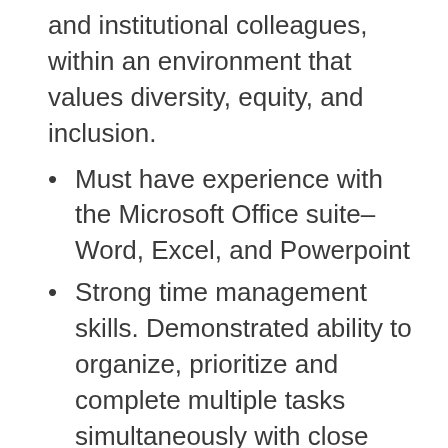and institutional colleagues, within an environment that values diversity, equity, and inclusion.
Must have experience with the Microsoft Office suite–Word, Excel, and Powerpoint
Strong time management skills. Demonstrated ability to organize, prioritize and complete multiple tasks simultaneously with close attention to detail and under deadlines.
Must be able to work independently and as part of a team.